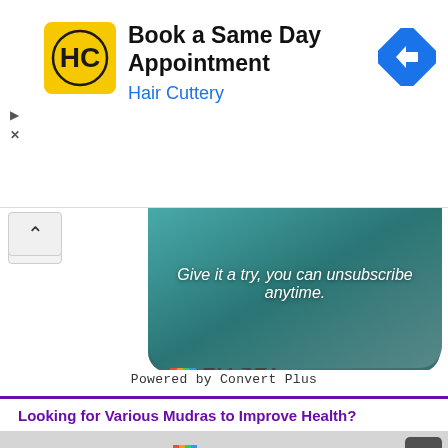[Figure (screenshot): Hair Cuttery ad banner with yellow HC logo, text 'Book a Same Day Appointment Hair Cuttery', and blue diamond navigation arrow icon]
[Figure (photo): Yoga/meditation image with person in teal clothing, text overlay 'Give it a try, you can unsubscribe anytime.']
Powered by Convert Plus
Looking for Various Mudras to Improve Health?
[Figure (screenshot): Fitsri popup ad with logo, headline 'Recordings of Mudra Therapy Sessions is Available.' and GET NOW! button]